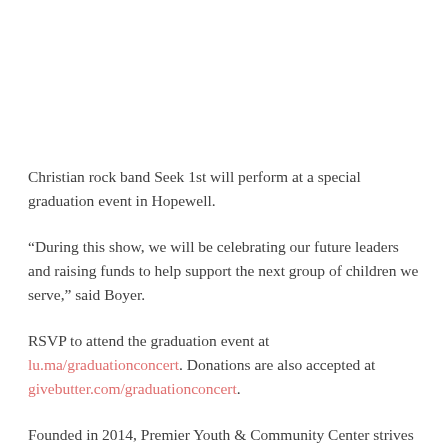Christian rock band Seek 1st will perform at a special graduation event in Hopewell.
“During this show, we will be celebrating our future leaders and raising funds to help support the next group of children we serve,” said Boyer.
RSVP to attend the graduation event at lu.ma/graduationconcert. Donations are also accepted at givebutter.com/graduationconcert.
Founded in 2014, Premier Youth & Community Center strives to impact the community and provide a facility that youth, families and